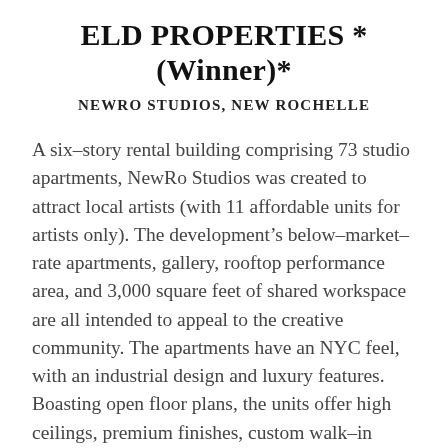ELD PROPERTIES *(Winner)*
NEWRO STUDIOS, NEW ROCHELLE
A six-story rental building comprising 73 studio apartments, NewRo Studios was created to attract local artists (with 11 affordable units for artists only). The development's below-market-rate apartments, gallery, rooftop performance area, and 3,000 square feet of shared workspace are all intended to appeal to the creative community. The apartments have an NYC feel, with an industrial design and luxury features. Boasting open floor plans, the units offer high ceilings, premium finishes, custom walk-in closets,